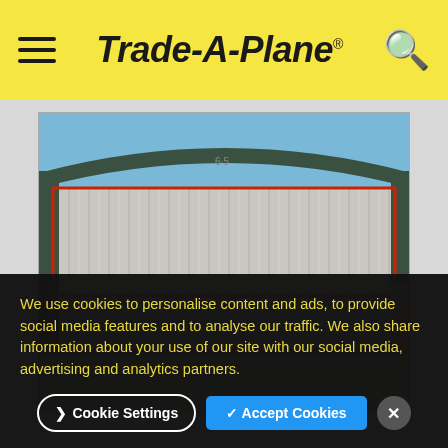Trade-A-Plane
[Figure (photo): Front view of a large metal aircraft hangar with corrugated steel siding and a red-framed bifold door, under a clear blue sky.]
We use cookies to personalise content and ads, to provide social media features and to analyse our traffic. We also share information about your use of our site with our social media, advertising and analytics partners.